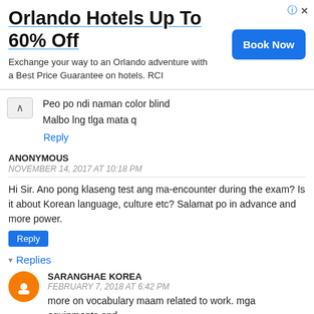[Figure (screenshot): Advertisement banner: Orlando Hotels Up To 60% Off with Book Now button]
Peo po ndi naman color blind
Malbo lng tlga mata q
Reply
ANONYMOUS
NOVEMBER 14, 2017 AT 10:18 PM
Hi Sir. Ano pong klaseng test ang ma-encounter during the exam? Is it about Korean language, culture etc? Salamat po in advance and more power.
Reply
▾ Replies
SARANGHAE KOREA
FEBRUARY 7, 2018 AT 6:42 PM
more on vocabulary maam related to work. mga equipments and mga basic conversation sa trabaho.